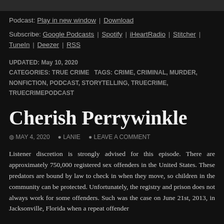Podcast: Play in new window | Download
Subscribe: Google Podcasts | Spotify | iHeartRadio | Stitcher | TuneIn | Deezer | RSS
UPDATED: May 10, 2020
CATEGORIES: TRUE CRIME   TAGS: CRIME, CRIMINAL, MURDER, NONFICTION, PODCAST, STORYTELLING, TRUECRIME, TRUECRIMEPODCAST
Cherish Perrywinkle
MAY 4, 2020  LANIE  LEAVE A COMMENT
Listener discretion is strongly advised for this episode. There are approximately 750,000 registered sex offenders in the United States. These predators are bound by law to check in when they move, so children in the community can be protected. Unfortunately, the registry and prison does not always work for some offenders. Such was the case on June 21st, 2013, in Jacksonville, Florida when a repeat offender